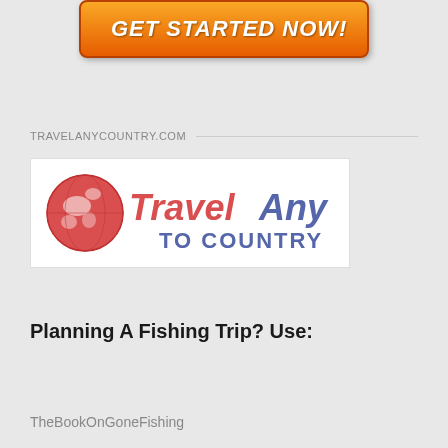[Figure (other): Orange rounded button with white bold italic text reading GET STARTED NOW!]
TRAVELANYCOUNTRY.COM
[Figure (logo): Travel Any To Country logo with red globe on the left and red/blue text reading TravelAny TO COUNTRY]
Planning A Fishing Trip? Use:
TheBookOnGoneFishing